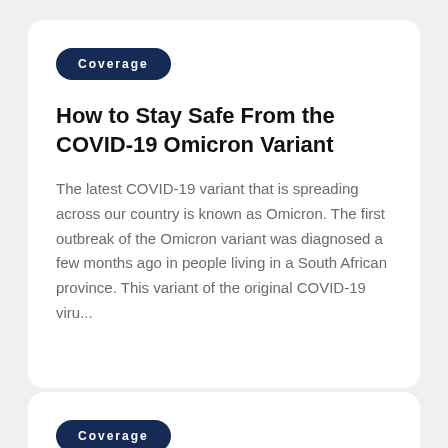Coverage
How to Stay Safe From the COVID-19 Omicron Variant
The latest COVID-19 variant that is spreading across our country is known as Omicron. The first outbreak of the Omicron variant was diagnosed a few months ago in people living in a South African province. This variant of the original COVID-19 viru...
Coverage